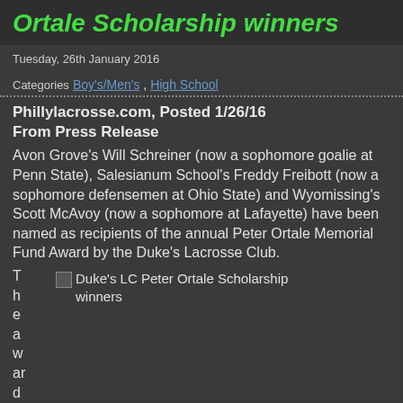Ortale Scholarship winners
Tuesday, 26th January 2016
Categories  Boy's/Men's ,  High School
Phillylacrosse.com, Posted 1/26/16
From Press Release
Avon Grove's Will Schreiner (now a sophomore goalie at Penn State), Salesianum School's Freddy Freibott (now a sophomore defensemen at Ohio State) and Wyomissing's Scott McAvoy (now a sophomore at Lafayette) have been named as recipients of the annual Peter Ortale Memorial Fund Award by the Duke's Lacrosse Club.
The award
[Figure (photo): Duke's LC Peter Ortale Scholarship winners]